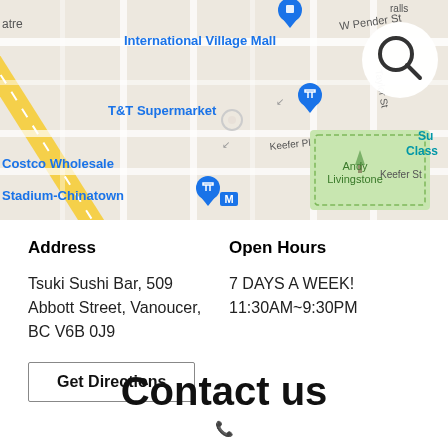[Figure (map): Google Maps screenshot showing the area around Stadium-Chinatown, Vancouver. Landmarks visible include International Village Mall, T&T Supermarket, Stadium-Chinatown metro station, Costco Wholesale, W Pender St, Taylor St, Keefer Pl, Keefer St, Andy Livingstone park. A search icon (magnifying glass) appears in the top-right corner.]
Address
Open Hours
Tsuki Sushi Bar, 509 Abbott Street, Vanoucer, BC V6B 0J9
7 DAYS A WEEK!
11:30AM~9:30PM
Get Directions
Contact us